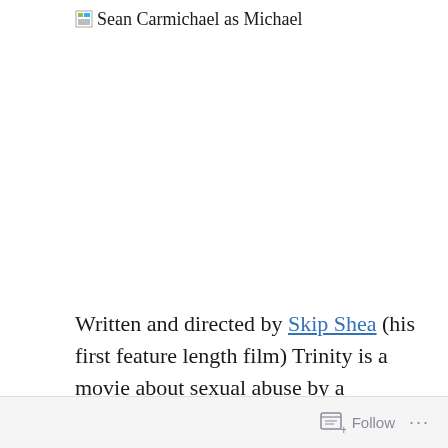Sean Carmichael as Michael
Written and directed by Skip Shea (his first feature length film) Trinity is a movie about sexual abuse by a member of the clergy and its aftereffects. Michael (Sean
Follow ...